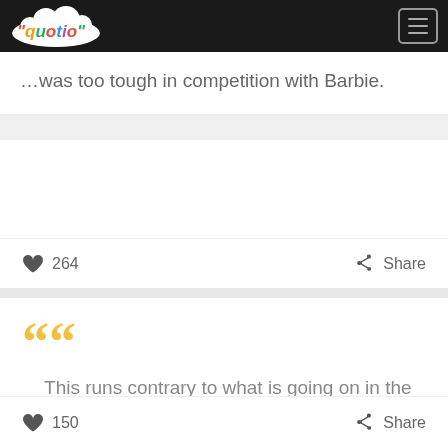quotio
...was too tough in competition with Barbie.
♥ 264   Share
This runs contrary to what is going on in the rest of country. Schools have made adjustments in light of the Sarbanes-Oxley bill.
♥ 150   Share